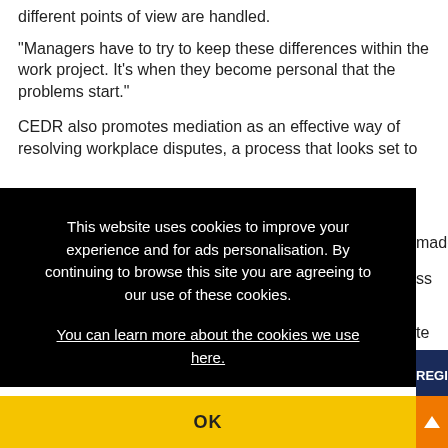different points of view are handled.
“Managers have to try to keep these differences within the work project. It’s when they become personal that the problems start.”
CEDR also promotes mediation as an effective way of resolving workplace disputes, a process that looks set to [be increasingly] made [compulsory] ss
This website uses cookies to improve your experience and for ads personalisation. By continuing to browse this site you are agreeing to our use of these cookies. You can learn more about the cookies we use here.
OK